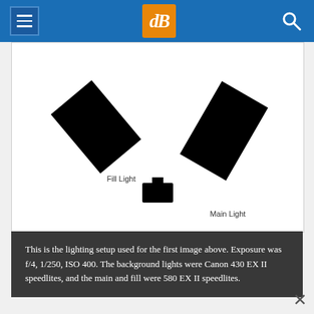dPS header navigation bar
[Figure (schematic): Lighting diagram showing Fill Light (upper left, angled black rectangle) and Main Light (upper right, angled black rectangle) with a camera icon (black shape) in the center bottom area, on white background]
This is the lighting setup used for the first image above. Exposure was f/4, 1/250, ISO 400. The background lights were Canon 430 EX II speedlites, and the main and fill were 580 EX II speedlites.
When shooting portraits, the very first decision l